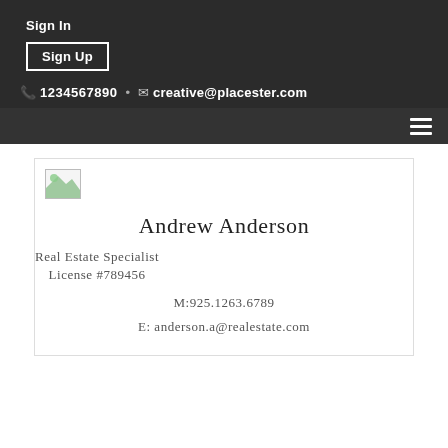Sign In
Sign Up
1234567890 · creative@placester.com
[Figure (other): Hamburger menu icon (three horizontal lines)]
[Figure (other): Small image placeholder icon (broken image with green corner)]
Andrew Anderson
Real Estate Specialist
License #789456
M:925.1263.6789
E: anderson.a@realestate.com